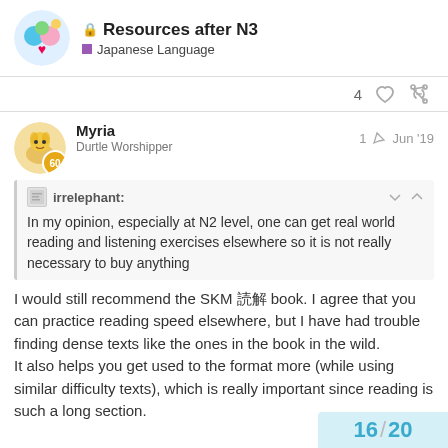🔒 Resources after N3 — Japanese Language
4 ♡ 🔗
Myria — Durtle Worshipper — 1 ✏ Jun '19
irrelephant: In my opinion, especially at N2 level, one can get real world reading and listening exercises elsewhere so it is not really necessary to buy anything
I would still recommend the SKM 🇯🇵 book. I agree that you can practice reading speed elsewhere, but I have had trouble finding dense texts like the ones in the book in the wild.
It also helps you get used to the format more (while using similar difficulty texts), which is really important since reading is such a long section.
16 / 20